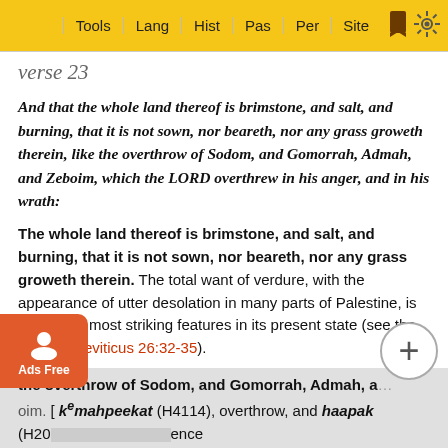Tools | Lang | Hist | Pas | Per | Site
verse 23
And that the whole land thereof is brimstone, and salt, and burning, that it is not sown, nor beareth, nor any grass groweth therein, like the overthrow of Sodom, and Gomorrah, Admah, and Zeboim, which the LORD overthrew in his anger, and in his wrath:
The whole land thereof is brimstone, and salt, and burning, that it is not sown, nor beareth, nor any grass groweth therein. The total want of verdure, with the appearance of utter desolation in many parts of Palestine, is one of the most striking features in its present state (see the notes at Leviticus 26:32-35).
the overthrow of Sodom, and Gomorrah, Admah, and Zeboim. [ k^amahpeekat (H4114), overthrow, and haapak (H20...) ...ence to the... ...d by the la... 9:29: